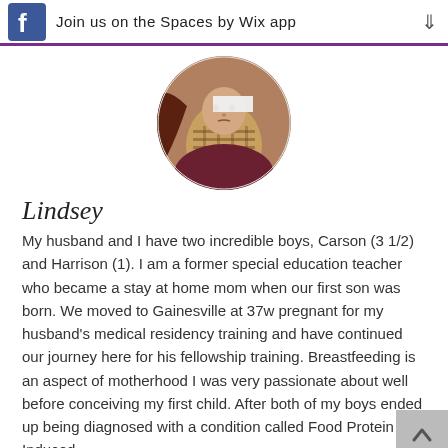Join us on the Spaces by Wix app
[Figure (photo): Circular profile photo showing a woman and a baby/toddler in a plaid shirt]
Lindsey
My husband and I have two incredible boys, Carson (3 1/2) and Harrison (1). I am a former special education teacher who became a stay at home mom when our first son was born. We moved to Gainesville at 37w pregnant for my husband's medical residency training and have continued our journey here for his fellowship training. Breastfeeding is an aspect of motherhood I was very passionate about well before conceiving my first child. After both of my boys ended up being diagnosed with a condition called Food Protein Induced